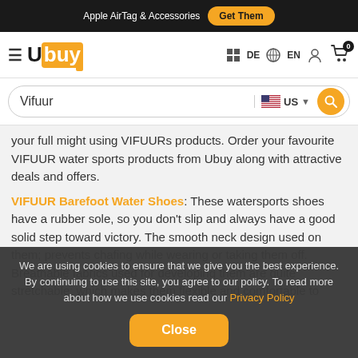Apple AirTag & Accessories  Get Them
[Figure (logo): Ubuy logo with hamburger menu, DE/EN language selector, user icon, and cart icon with 0 badge]
Vifuur (search bar with US flag dropdown and search button)
your full might using VIFUURs products. Order your favourite VIFUUR water sports products from Ubuy along with attractive deals and offers.
VIFUUR Barefoot Water Shoes: These watersports shoes have a rubber sole, so you don't slip and always have a good solid step toward victory. The smooth neck design used on them; prevents chafing while wearing or taking them off. Breathable fabrics used for developing them are quite stretchable; which makes them flexible and comfortable to
We are using cookies to ensure that we give you the best experience. By continuing to use this site, you agree to our policy. To read more about how we use cookies read our Privacy Policy  Close